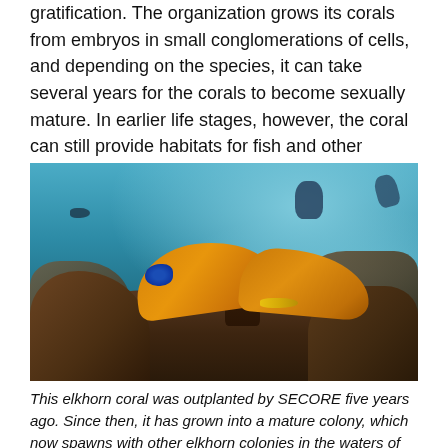gratification. The organization grows its corals from embryos in small conglomerations of cells, and depending on the species, it can take several years for the corals to become sexually mature. In earlier life stages, however, the coral can still provide habitats for fish and other species.
[Figure (photo): Underwater photograph showing an elkhorn coral with broad orange fan-shaped plates in the foreground, with rocky reef substrate, a blue tang fish, yellow fish, dark fish, and two scuba divers visible in the blue water background.]
This elkhorn coral was outplanted by SECORE five years ago. Since then, it has grown into a mature colony, which now spawns with other elkhorn colonies in the waters of Curaçao. [Image: SECORE/Paul Selvaggio]